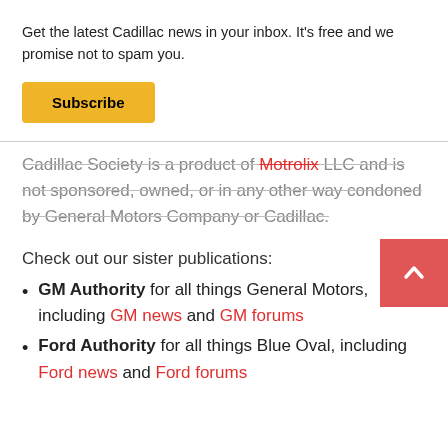Get the latest Cadillac news in your inbox. It's free and we promise not to spam you.
Subscribe
Cadillac Society is a product of Motrolix LLC and is not sponsored, owned, or in any other way condoned by General Motors Company or Cadillac.
Check out our sister publications:
GM Authority for all things General Motors, including GM news and GM forums
Ford Authority for all things Blue Oval, including Ford news and Ford forums